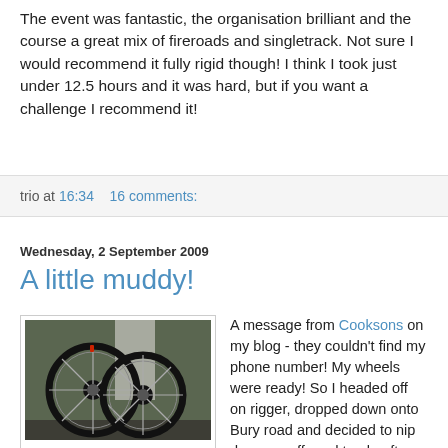The event was fantastic, the organisation brilliant and the course a great mix of fireroads and singletrack. Not sure I would recommend it fully rigid though! I think I took just under 12.5 hours and it was hard, but if you want a challenge I recommend it!
trio at 16:34   16 comments:
Wednesday, 2 September 2009
A little muddy!
[Figure (photo): Two black bicycle wheels leaning against a wall]
A message from Cooksons on my blog - they couldn't find my phone number! My wheels were ready! So I headed off on rigger, dropped down onto Bury road and decided to nip down an off-road track, after two metres I was covered in